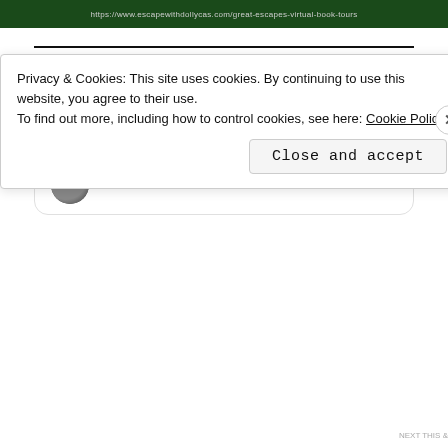[Figure (screenshot): Dark green banner with website URL https://www.escapewithdollycas.com/great-escapes-virtual-book-tours]
TWITTER SKINNY - FOLLOW ME!
[Figure (screenshot): Twitter widget showing 'Tweets from @ginstweeter' with a Follow button and a tweet row showing V Williams @ginstweeter · 8h with Twitter bird icon]
Privacy & Cookies: This site uses cookies. By continuing to use this website, you agree to their use.
To find out more, including how to control cookies, see here: Cookie Policy
Close and accept